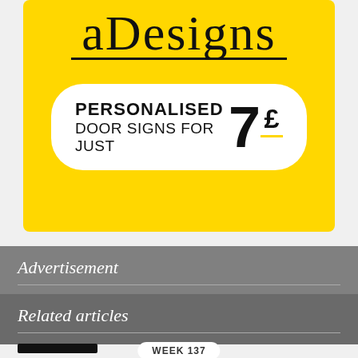[Figure (illustration): Yellow advertisement banner for 'aDesigns' showing personalised door signs for £7. Features cursive logo text 'aDesigns' with underline, and a white rounded rectangle price box.]
Advertisement
Related articles
WEEK 137